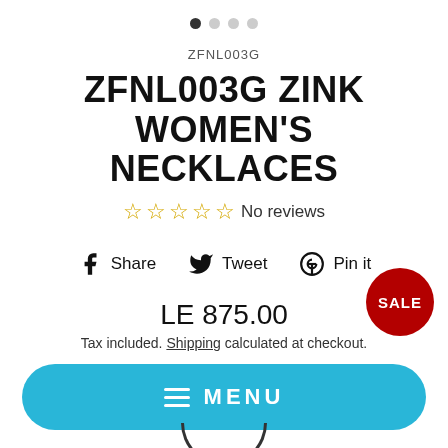[Figure (other): Carousel pagination dots, 4 dots with first one filled/active]
ZFNL003G
ZFNL003G ZINK WOMEN'S NECKLACES
No reviews (5 empty stars)
Share  Tweet  Pin it
LE 875.00
Tax included. Shipping calculated at checkout.
[Figure (other): Red circular SALE badge]
MENU